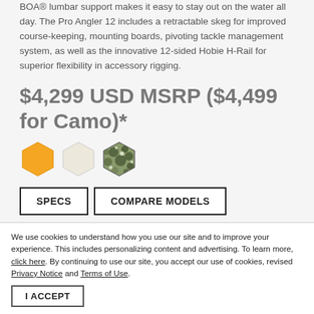BOA® lumbar support makes it easy to stay out on the water all day. The Pro Angler 12 includes a retractable skeg for improved course-keeping, mounting boards, pivoting tackle management system, as well as the innovative 12-sided Hobie H-Rail for superior flexibility in accessory rigging.
$4,299 USD MSRP ($4,499 for Camo)*
[Figure (illustration): Three hexagonal color swatches: orange, cream/white, and camouflage pattern]
SPECS   COMPARE MODELS
We use cookies to understand how you use our site and to improve your experience. This includes personalizing content and advertising. To learn more, click here. By continuing to use our site, you accept our use of cookies, revised Privacy Notice and Terms of Use.
I ACCEPT